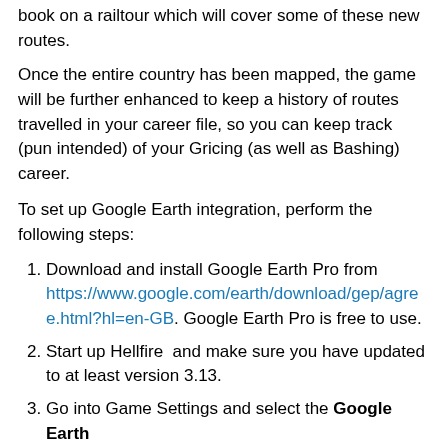book on a railtour which will cover some of these new routes.
Once the entire country has been mapped, the game will be further enhanced to keep a history of routes travelled in your career file, so you can keep track (pun intended) of your Gricing (as well as Bashing) career.
To set up Google Earth integration, perform the following steps:
Download and install Google Earth Pro from https://www.google.com/earth/download/gep/agree.html?hl=en-GB. Google Earth Pro is free to use.
Start up Hellfire  and make sure you have updated to at least version 3.13.
Go into Game Settings and select the Google Earth
[Figure (screenshot): Game Settings dialog showing tabs: Updates, Shared Locos, Sound, Custom Images, Advanced, Startup, Google Earth (active tab). Body shows Google Earth integration options with radio buttons and a Configure Local Folder button.]